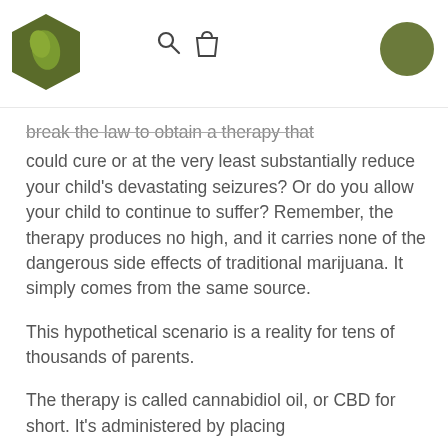[Figure (logo): Green hexagon logo with leaf/drop icon]
[Figure (other): Search and shopping bag navigation icons]
[Figure (other): Olive green circular avatar]
break the law to obtain a therapy that could cure or at the very least substantially reduce your child's devastating seizures? Or do you allow your child to continue to suffer? Remember, the therapy produces no high, and it carries none of the dangerous side effects of traditional marijuana. It simply comes from the same source.
This hypothetical scenario is a reality for tens of thousands of parents.
The therapy is called cannabidiol oil, or CBD for short. It's administered by placing